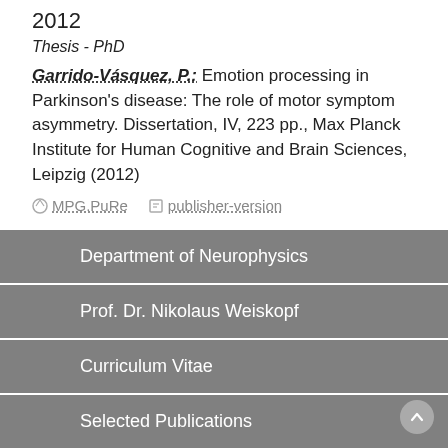2012
Thesis - PhD
Garrido-Vásquez, P.: Emotion processing in Parkinson's disease: The role of motor symptom asymmetry. Dissertation, IV, 223 pp., Max Planck Institute for Human Cognitive and Brain Sciences, Leipzig (2012)
MPG.PuRe   publisher-version
Department of Neurophysics
Prof. Dr. Nikolaus Weiskopf
Curriculum Vitae
Selected Publications